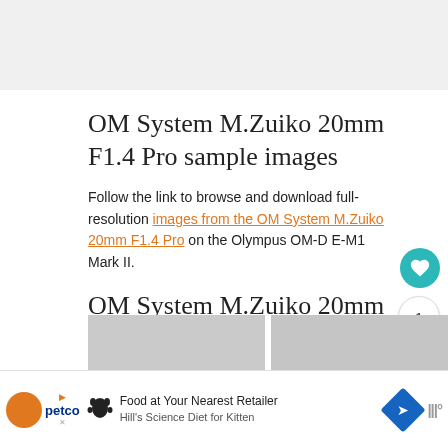[Figure (screenshot): Gray top area of a webpage screenshot]
OM System M.Zuiko 20mm F1.4 Pro sample images
Follow the link to browse and download full-resolution images from the OM System M.Zuiko 20mm F1.4 Pro on the Olympus OM-D E-M1 Mark II.
OM System M.Zuiko 20mm F1.4 Pro image gallery
[Figure (photo): Partial photo strip showing gray sky or overcast scene]
[Figure (screenshot): Petco advertisement banner: 'Food at Your Nearest Retailer', Hill's Science Diet for Kitten]